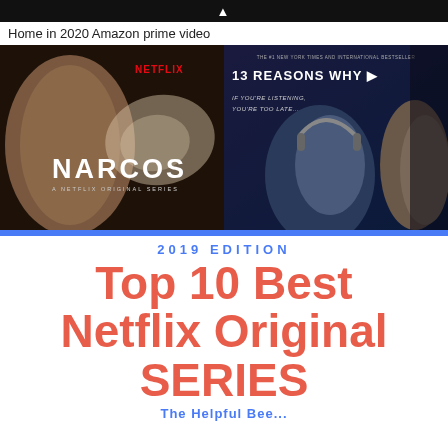[Figure (screenshot): Dark banner header strip at top of webpage]
Home in 2020 Amazon prime video
[Figure (photo): Composite image showing two Netflix series: Narcos (left panel with actor and Netflix logo) and 13 Reasons Why (right panel with headphone-wearing character)]
2019 EDITION
Top 10 Best Netflix Original SERIES